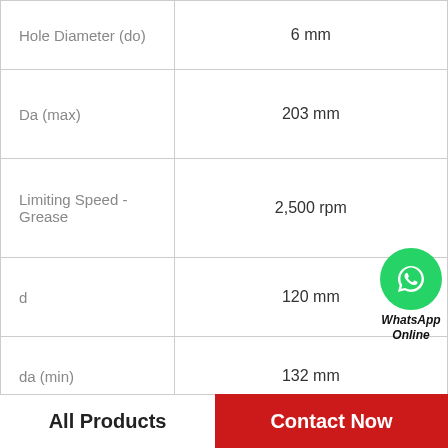| Parameter | Value |
| --- | --- |
| Hole Diameter (do) | 6 mm |
| Da (max) | 203 mm |
| Limiting Speed - Grease | 2,500 rpm |
| d | 120 mm |
| da (min) | 132 mm |
| Axial Load Factor Y1 | 1.97 |
| B | 76 mm |
| Center Guidance | Floating Steel Ring |
All Products
Contact Now